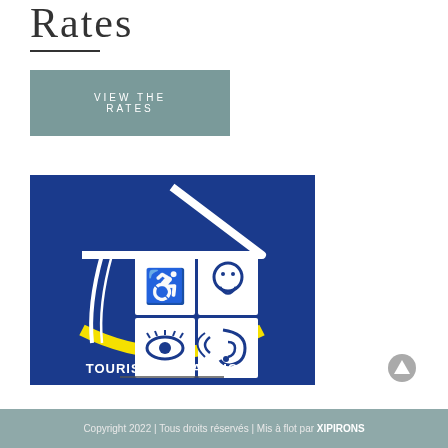Rates
VIEW THE RATES
[Figure (logo): Tourisme & Handicap logo: blue square with a white house outline containing four accessibility icons (wheelchair, face/mental, eye/visual, ear/hearing), a yellow crescent smile at the bottom, and white text 'TOURISME & HANDICAP' below the icons.]
Copyright 2022 | Tous droits réservés | Mis à flot par XIPIRONS